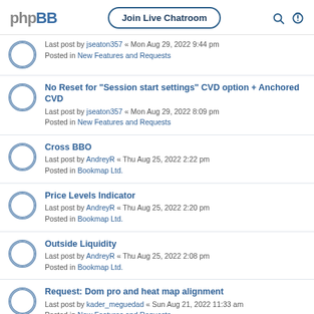phpBB | Join Live Chatroom
Last post by jseaton357 « Mon Aug 29, 2022 9:44 pm
Posted in New Features and Requests
No Reset for "Session start settings" CVD option + Anchored CVD
Last post by jseaton357 « Mon Aug 29, 2022 8:09 pm
Posted in New Features and Requests
Cross BBO
Last post by AndreyR « Thu Aug 25, 2022 2:22 pm
Posted in Bookmap Ltd.
Price Levels Indicator
Last post by AndreyR « Thu Aug 25, 2022 2:20 pm
Posted in Bookmap Ltd.
Outside Liquidity
Last post by AndreyR « Thu Aug 25, 2022 2:08 pm
Posted in Bookmap Ltd.
Request: Dom pro and heat map alignment
Last post by kader_meguedad « Sun Aug 21, 2022 11:33 am
Posted in New Features and Requests
New feature: have CVD's size filters match T&S
Last post by jphiggs « Sun Aug 14, 2022 1:54 pm